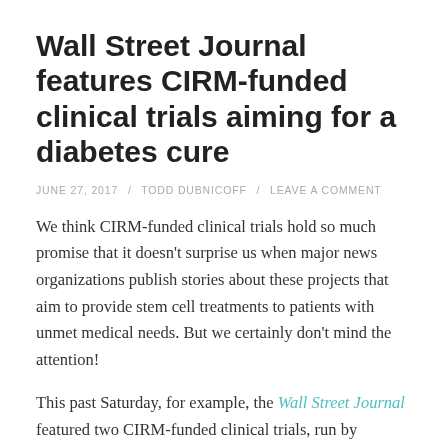Wall Street Journal features CIRM-funded clinical trials aiming for a diabetes cure
JUNE 27, 2017 / TODD DUBNICOFF / LEAVE A COMMENT
We think CIRM-funded clinical trials hold so much promise that it doesn't surprise us when major news organizations publish stories about these projects that aim to provide stem cell treatments to patients with unmet medical needs. But we certainly don't mind the attention!
This past Saturday, for example, the Wall Street Journal featured two CIRM-funded clinical trials, run by ViaCyte and Caladrius, in an article covering cutting-edge approaches that started clinical diabetes...